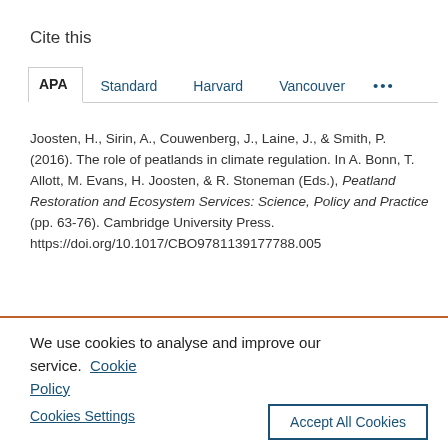Cite this
APA | Standard | Harvard | Vancouver | ...
Joosten, H., Sirin, A., Couwenberg, J., Laine, J., & Smith, P. (2016). The role of peatlands in climate regulation. In A. Bonn, T. Allott, M. Evans, H. Joosten, & R. Stoneman (Eds.), Peatland Restoration and Ecosystem Services: Science, Policy and Practice (pp. 63-76). Cambridge University Press. https://doi.org/10.1017/CBO9781139177788.005
We use cookies to analyse and improve our service. Cookie Policy
Cookies Settings
Accept All Cookies